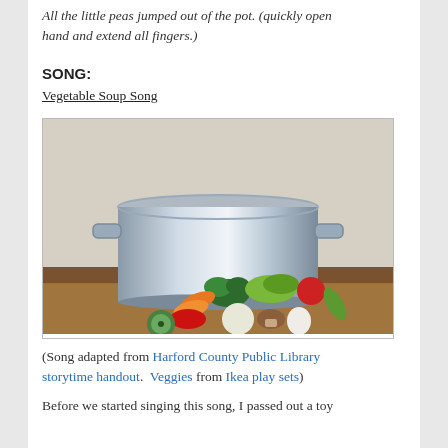All the little peas jumped out of the pot. (quickly open hand and extend all fingers.)
SONG:
Vegetable Soup Song
[Figure (photo): A large silver stockpot on a wooden floor surrounded by colorful toy felt/plush vegetables including carrots, broccoli, lettuce, tomato, zucchini, red pepper, onion, mushroom, cucumber, and an egg.]
(Song adapted from Harford County Public Library storytime handout.  Veggies from Ikea play sets)
Before we started singing this song, I passed out a toy